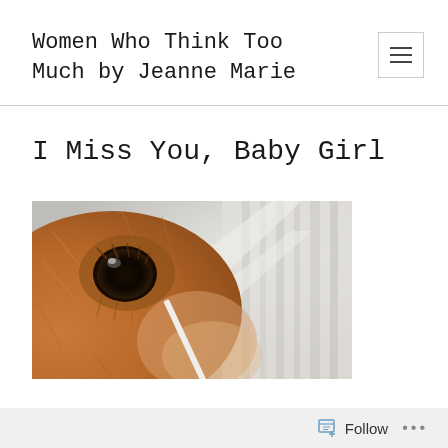Women Who Think Too Much by Jeanne Marie
I Miss You, Baby Girl
[Figure (photo): Close-up photograph of a small dog's eye and fur, golden/brown coloring, with blurred white background.]
Follow ...